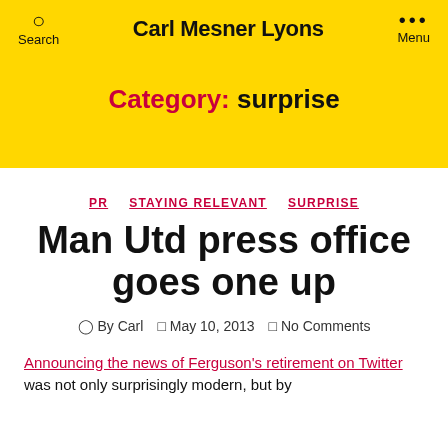Carl Mesner Lyons
Category: surprise
PR  STAYING RELEVANT  SURPRISE
Man Utd press office goes one up
By Carl  May 10, 2013  No Comments
Announcing the news of Ferguson's retirement on Twitter was not only surprisingly modern, but by